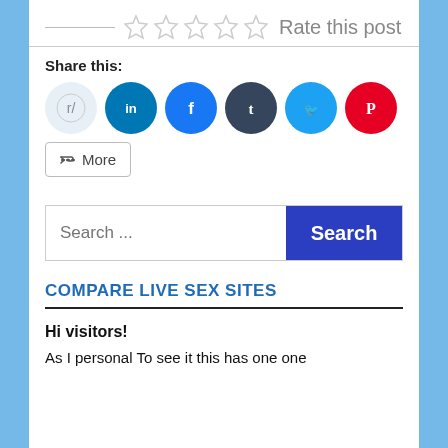[Figure (other): Star rating widget with 5 empty stars and label 'Rate this post']
Share this:
[Figure (other): Social share icons: Reddit, LinkedIn, Facebook, Tumblr, Twitter, Pinterest, and a More button]
[Figure (other): Search bar with placeholder 'Search ...' and a blue Search button]
COMPARE LIVE SEX SITES
Hi visitors!
As I personal To see it this has one one